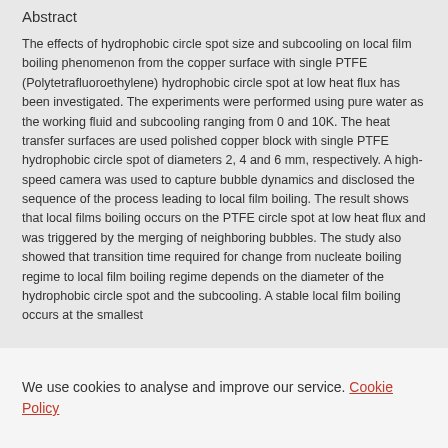Abstract
The effects of hydrophobic circle spot size and subcooling on local film boiling phenomenon from the copper surface with single PTFE (Polytetrafluoroethylene) hydrophobic circle spot at low heat flux has been investigated. The experiments were performed using pure water as the working fluid and subcooling ranging from 0 and 10K. The heat transfer surfaces are used polished copper block with single PTFE hydrophobic circle spot of diameters 2, 4 and 6 mm, respectively. A high-speed camera was used to capture bubble dynamics and disclosed the sequence of the process leading to local film boiling. The result shows that local films boiling occurs on the PTFE circle spot at low heat flux and was triggered by the merging of neighboring bubbles. The study also showed that transition time required for change from nucleate boiling regime to local film boiling regime depends on the diameter of the hydrophobic circle spot and the subcooling. A stable local film boiling occurs at the smallest
We use cookies to analyse and improve our service. Cookie Policy